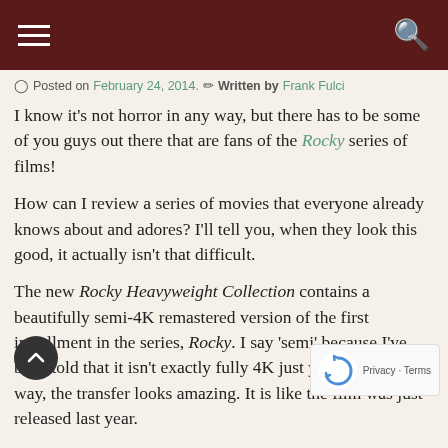☰  🔍
⊙ Posted on February 24, 2014. ✎ Written by Frank Fulci
I know it's not horror in any way, but there has to be some of you guys out there that are fans of the Rocky series of films!
How can I review a series of movies that everyone already knows about and adores? I'll tell you, when they look this good, it actually isn't that difficult.
The new Rocky Heavyweight Collection contains a beautifully semi-4K remastered version of the first installment in the series, Rocky. I say 'semi' because I've been told that it isn't exactly fully 4K just yet, but either way, the transfer looks amazing. It is like the film was just released last year.
While the other films in this specific set haven't received the same 4K treatment, they are all still remarkably good looking. From the awesome 80's montages with the catchy